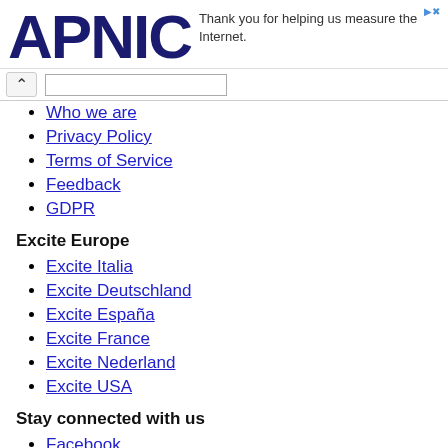APNIC — Thank you for helping us measure the Internet.
Who we are
Privacy Policy
Terms of Service
Feedback
GDPR
Excite Europe
Excite Italia
Excite Deutschland
Excite España
Excite France
Excite Nederland
Excite USA
Stay connected with us
Facebook
Twitter
Youtube